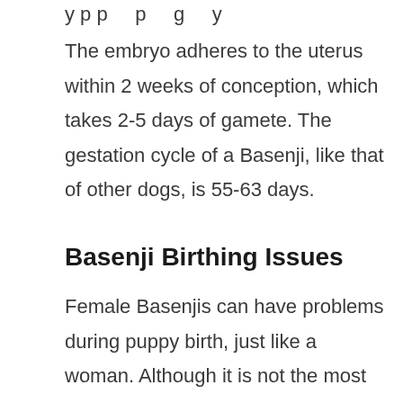…y p p g y
The embryo adheres to the uterus within 2 weeks of conception, which takes 2-5 days of gamete. The gestation cycle of a Basenji, like that of other dogs, is 55-63 days.
Basenji Birthing Issues
Female Basenjis can have problems during puppy birth, just like a woman. Although it is not the most common, it can happen at any time, and even these